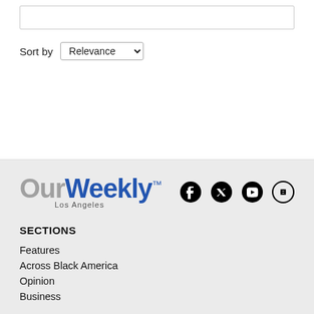Sort by Relevance
[Figure (logo): OurWeekly Los Angeles logo with social media icons (Facebook, Twitter, YouTube, Link)]
SECTIONS
Features
Across Black America
Opinion
Business